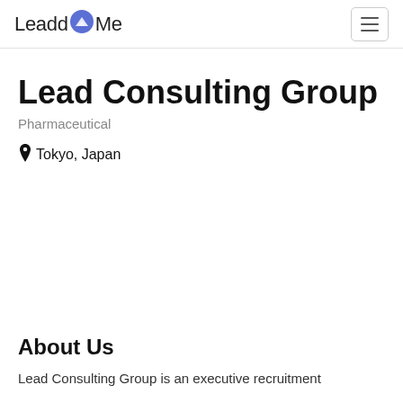LeaddMe
Lead Consulting Group
Pharmaceutical
Tokyo, Japan
About Us
Lead Consulting Group is an executive recruitment